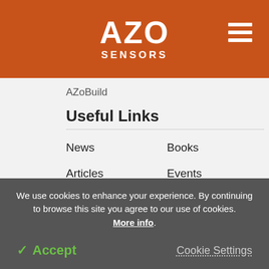AZO SENSORS
AZoBuild
Useful Links
News
Books
Articles
Events
Equipment
Applications
Videos
Sensor Types
Interviews
Newsletters
We use cookies to enhance your experience. By continuing to browse this site you agree to our use of cookies. More info.
✓ Accept
Cookie Settings